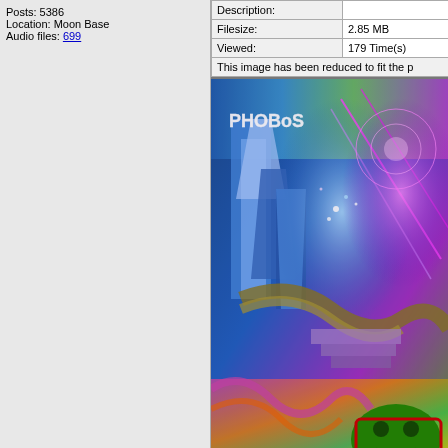Posts: 5386
Location: Moon Base
Audio files: 699
| Description: |  |
| Filesize: | 2.85 MB |
| Viewed: | 179 Time(s) |
This image has been reduced to fit the p
[Figure (photo): Psychedelic digital artwork showing blue crystalline structures on the left and colorful fractal patterns with a face/creature motif on the right. Text 'PHOBoS' in white appears in upper left area of the image.]